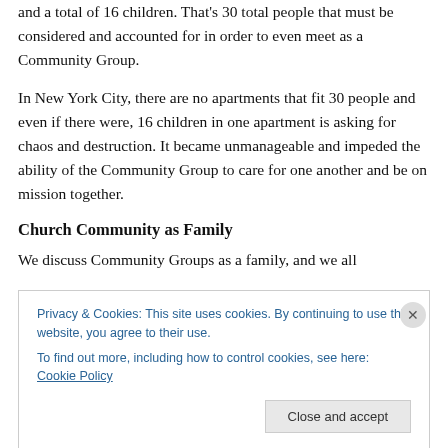and a total of 16 children. That's 30 total people that must be considered and accounted for in order to even meet as a Community Group.
In New York City, there are no apartments that fit 30 people and even if there were, 16 children in one apartment is asking for chaos and destruction. It became unmanageable and impeded the ability of the Community Group to care for one another and be on mission together.
Church Community as Family
We discuss Community Groups as a family, and we all
Privacy & Cookies: This site uses cookies. By continuing to use this website, you agree to their use. To find out more, including how to control cookies, see here: Cookie Policy
Close and accept